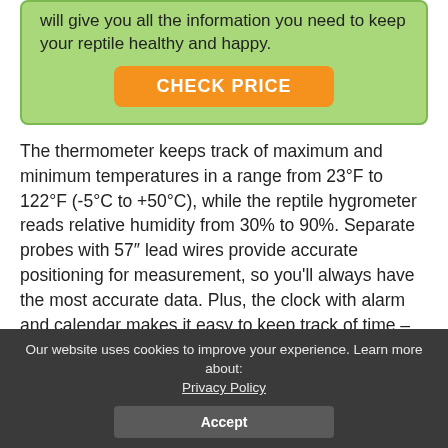will give you all the information you need to keep your reptile healthy and happy.
CHECK PRICE
The thermometer keeps track of maximum and minimum temperatures in a range from 23°F to 122°F (-5°C to +50°C), while the reptile hygrometer reads relative humidity from 30% to 90%. Separate probes with 57" lead wires provide accurate positioning for measurement, so you'll always have the most accurate data. Plus, the clock with alarm and calendar makes it easy to keep track of time – even when you're busy taking care of your scaly friend!
Our website uses cookies to improve your experience. Learn more about: Privacy Policy
Accept